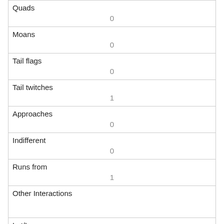| Quads | 0 |
| Moans | 0 |
| Tail flags | 0 |
| Tail twitches | 1 |
| Approaches | 0 |
| Indifferent | 0 |
| Runs from | 1 |
| Other Interactions |  |
| Lat/Long | POINT (-73.9711318790279 40.7701941550273) |
| Link | 111 |